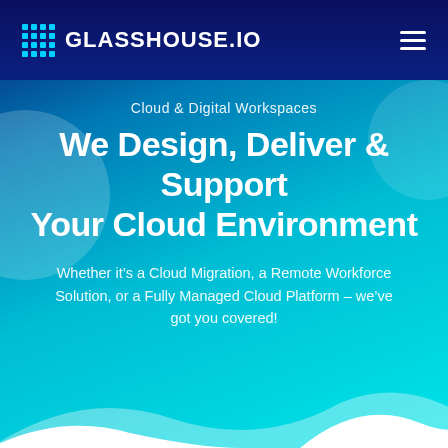GLASSHOUSE.IO
Cloud & Digital Workspaces
We Design, Deliver & Support Your Cloud Environment
Whether it’s a Cloud Migration, a Remote Workforce Solution, or a Fully Managed Cloud Platform – we’ve got you covered!